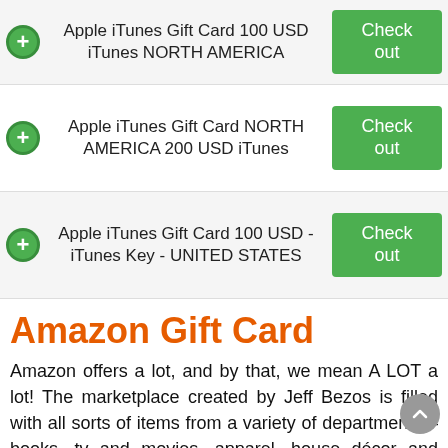Apple iTunes Gift Card 100 USD iTunes NORTH AMERICA
Apple iTunes Gift Card NORTH AMERICA 200 USD iTunes
Apple iTunes Gift Card 100 USD - iTunes Key - UNITED STATES
Amazon Gift Card
Amazon offers a lot, and by that, we mean A LOT a lot! The marketplace created by Jeff Bezos is filled with all sorts of items from a variety of departments – books, tv and movies, apparel, house décor and many, many more. Amazon Gift Card is a perfect present for the undecided who want to make sure that the recipient will be able to